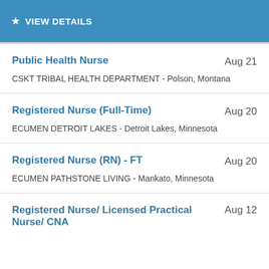[Figure (screenshot): Blue banner header with star icon and text 'VIEW DETAILS']
Public Health Nurse | Aug 21 | CSKT TRIBAL HEALTH DEPARTMENT - Polson, Montana
Registered Nurse (Full-Time) | Aug 20 | ECUMEN DETROIT LAKES - Detroit Lakes, Minnesota
Registered Nurse (RN) - FT | Aug 20 | ECUMEN PATHSTONE LIVING - Mankato, Minnesota
Registered Nurse/ Licensed Practical Nurse/ CNA | Aug 12